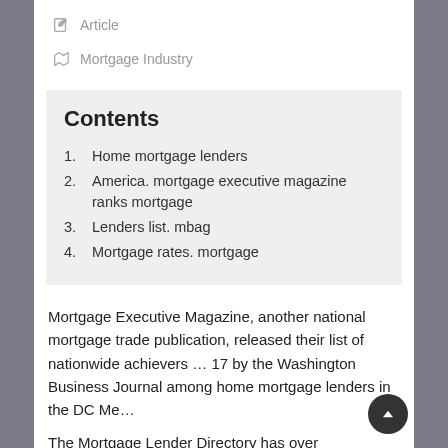Article
Mortgage Industry
Contents
Home mortgage lenders
America. mortgage executive magazine ranks mortgage
Lenders list. mbag
Mortgage rates. mortgage
Mortgage Executive Magazine, another national mortgage trade publication, released their list of nationwide achievers … 17 by the Washington Business Journal among home mortgage lenders in the DC Me…
The Mortgage Lender Directory has over